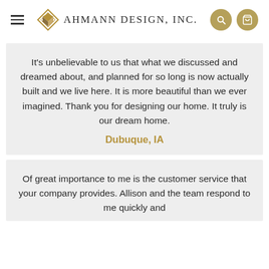Ahmann Design, Inc.
It’s unbelievable to us that what we discussed and dreamed about, and planned for so long is now actually built and we live here. It is more beautiful than we ever imagined. Thank you for designing our home. It truly is our dream home. Dubuque, IA
Of great importance to me is the customer service that your company provides. Allison and the team respond to me quickly and